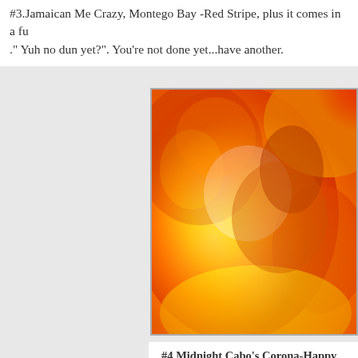#3.Jamaican Me Crazy, Montego Bay -Red Stripe, plus it comes in a fu..." Yuh no dun yet?". You're not done yet...have another.
[Figure (photo): A heat-map style filtered photo with yellow, orange, and red tones showing a person in warm lighting conditions.]
#4 Midnight Cabo's Corona-Happy Go Local